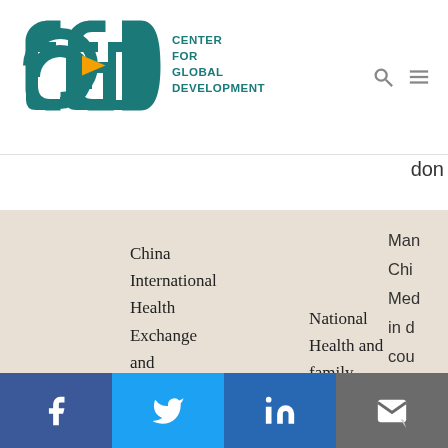[Figure (logo): Center for Global Development (CGD) logo with teal and yellow CGD letters and organization name]
don
|  | Full Name | Partner | Description (partial) |
| --- | --- | --- | --- |
| IHECC | China International Health Exchange and Cooperation Center | National Health and family Planning Council | Man Chi Med in d cou par Chi hea in c wit |